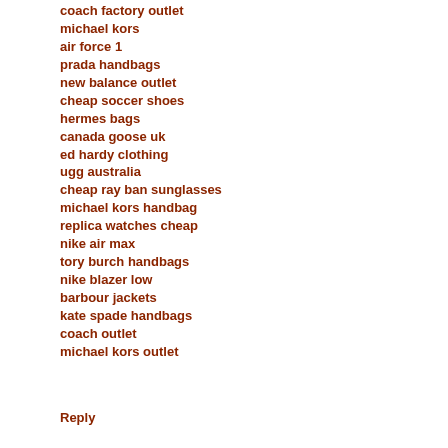coach factory outlet
michael kors
air force 1
prada handbags
new balance outlet
cheap soccer shoes
hermes bags
canada goose uk
ed hardy clothing
ugg australia
cheap ray ban sunglasses
michael kors handbag
replica watches cheap
nike air max
tory burch handbags
nike blazer low
barbour jackets
kate spade handbags
coach outlet
michael kors outlet
Reply